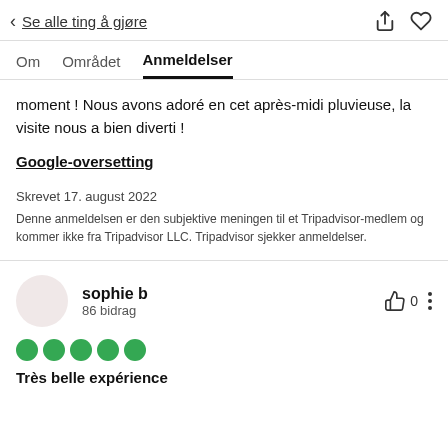< Se alle ting å gjøre
Om   Området   Anmeldelser
moment ! Nous avons adoré en cet après-midi pluvieuse, la visite nous a bien diverti !
Google-oversetting
Skrevet 17. august 2022
Denne anmeldelsen er den subjektive meningen til et Tripadvisor-medlem og kommer ikke fra Tripadvisor LLC. Tripadvisor sjekker anmeldelser.
sophie b
86 bidrag
Très belle expérience